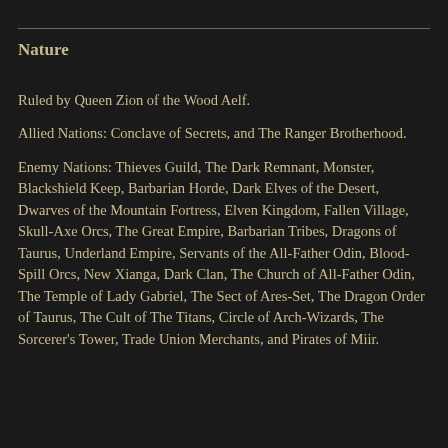Nature
Ruled by Queen Zion of the Wood Aelf.
Allied Nations: Conclave of Secrets, and The Ranger Brotherhood.
Enemy Nations: Thieves Guild, The Dark Remnant, Monster, Blackshield Keep, Barbarian Horde, Dark Elves of the Desert, Dwarves of the Mountain Fortress, Elven Kingdom, Fallen Village, Skull-Axe Orcs, The Great Empire, Barbarian Tribes, Dragons of Taurus, Underland Empire, Servants of the All-Father Odin, Blood-Spill Orcs, New Xianga, Dark Clan, The Church of All-Father Odin, The Temple of Lady Gabriel, The Sect of Ares-Set, The Dragon Order of Taurus, The Cult of The Titans, Circle of Arch-Wizards, The Sorcerer's Tower, Trade Union Merchants, and Pirates of Miir.